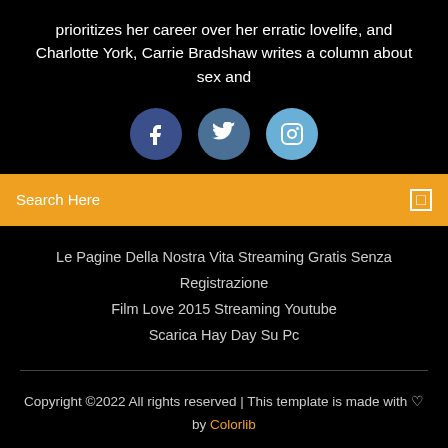prioritizes her career over her erratic lovelife, and Charlotte York, Carrie Bradshaw writes a column about sex and
[Figure (infographic): Three social media icons in circles: Facebook (dark blue), Twitter (medium blue), Instagram (light blue)]
Search Here
Le Pagine Della Nostra Vita Streaming Gratis Senza Registrazione
Film Love 2015 Streaming Youtube
Scarica Hay Day Su Pc
Copyright ©2022 All rights reserved | This template is made with ♡ by Colorlib